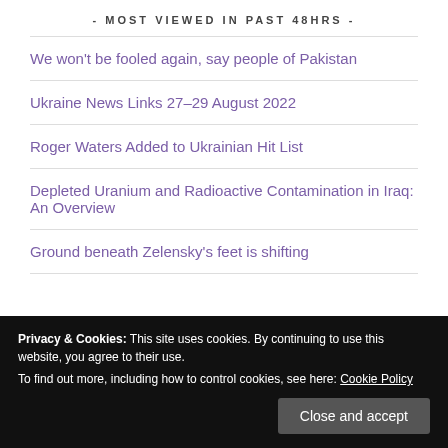- MOST VIEWED IN PAST 48HRS -
We won't be fooled again, say people of Pakistan
Ukraine News Links 27–29 August 2022
Roger Waters Added to Ukrainian Hit List
Depleted Uranium and Radioactive Contamination in Iraq: An Overview
Ground beneath Zelensky's feet is shifting
Privacy & Cookies: This site uses cookies. By continuing to use this website, you agree to their use.
To find out more, including how to control cookies, see here: Cookie Policy